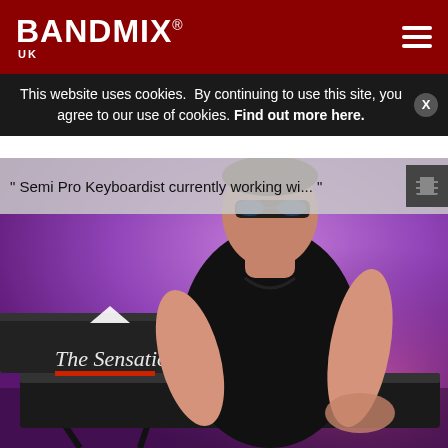BANDMIX® UK
This website uses cookies.  By continuing to use this site, you agree to our use of cookies. Find out more here.
" Semi Pro Keyboardist currently working wi... "
[Figure (photo): A man wearing dark sunglasses and a sleeveless black t-shirt playing a keyboard/synthesizer on stage with purple/pink stage lighting. A keyboard with a cursive logo is visible in the foreground.]